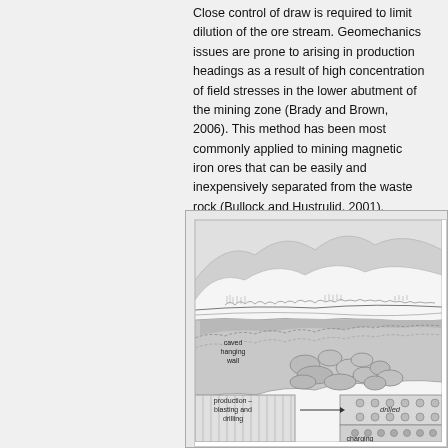Close control of draw is required to limit dilution of the ore stream. Geomechanics issues are prone to arising in production headings as a result of high concentration of field stresses in the lower abutment of the mining zone (Brady and Brown, 2006). This method has been most commonly applied to mining magnetic iron ores that can be easily and inexpensively separated from the waste rock (Bullock and Hustrulid, 2001).
[Figure (engineering-diagram): Cut-and-fill or sublevel caving mining method diagram showing caved hanging wall, production blasting and drilling zones, drilled section, and charging level in an underground mining context with surface terrain visible at top.]